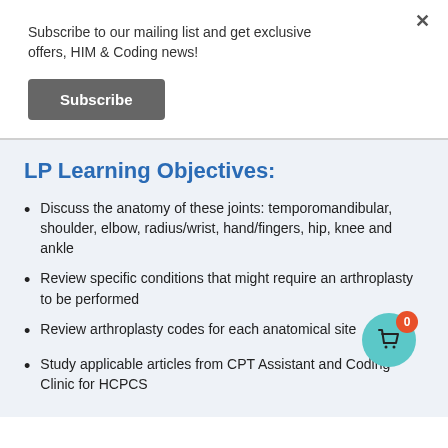Subscribe to our mailing list and get exclusive offers, HIM & Coding news!
[Figure (other): Subscribe button - dark gray rectangular button with white bold text 'Subscribe']
LP Learning Objectives:
Discuss the anatomy of these joints: temporomandibular, shoulder, elbow, radius/wrist, hand/fingers, hip, knee and ankle
Review specific conditions that might require an arthroplasty to be performed
Review arthroplasty codes for each anatomical site
Study applicable articles from CPT Assistant and Coding Clinic for HCPCS